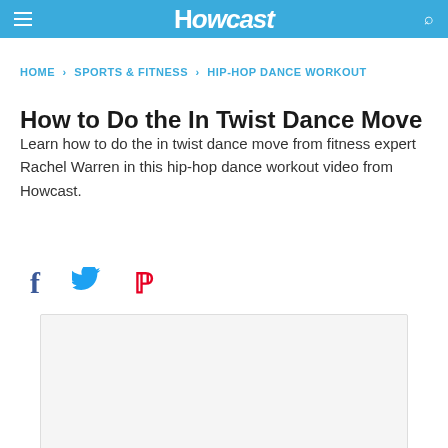Howcast
HOME › SPORTS & FITNESS › HIP-HOP DANCE WORKOUT
How to Do the In Twist Dance Move
Learn how to do the in twist dance move from fitness expert Rachel Warren in this hip-hop dance workout video from Howcast.
[Figure (other): Social sharing icons: Facebook (f), Twitter (bird), Pinterest (P)]
[Figure (other): Video placeholder area with light gray background]